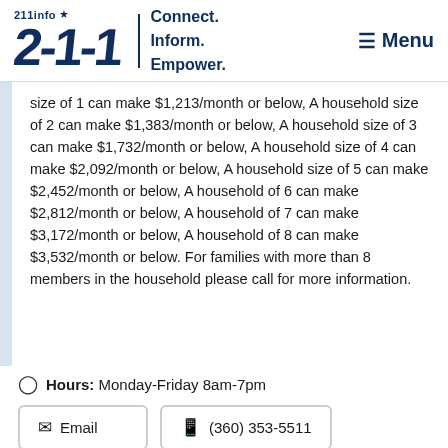211info ★ | Connect. Inform. Empower. | Menu
size of 1 can make $1,213/month or below, A household size of 2 can make $1,383/month or below, A household size of 3 can make $1,732/month or below, A household size of 4 can make $2,092/month or below, A household size of 5 can make $2,452/month or below, A household of 6 can make $2,812/month or below, A household of 7 can make $3,172/month or below, A household of 8 can make $3,532/month or below. For families with more than 8 members in the household please call for more information.
Hours: Monday-Friday 8am-7pm
Email | (360) 353-5511